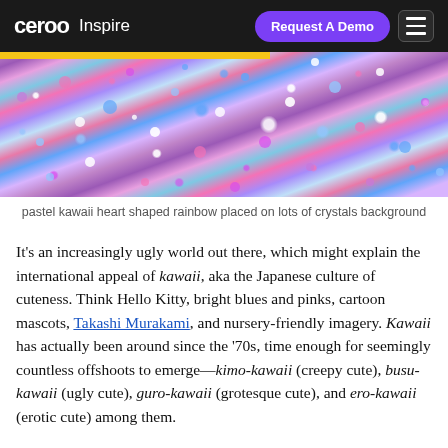ceroo Inspire | Request A Demo
[Figure (photo): Close-up photo of pastel kawaii heart shaped rainbow placed on lots of crystals background, with colorful sparkling gems in pink, blue, purple, and white tones. A yellow bar appears at the top edge.]
pastel kawaii heart shaped rainbow placed on lots of crystals background
It’s an increasingly ugly world out there, which might explain the international appeal of kawaii, aka the Japanese culture of cuteness. Think Hello Kitty, bright blues and pinks, cartoon mascots, Takashi Murakami, and nursery-friendly imagery. Kawaii has actually been around since the ‘70s, time enough for seemingly countless offshoots to emerge—kimo-kawaii (creepy cute), busu-kawaii (ugly cute), guro-kawaii (grotesque cute), and ero-kawaii (erotic cute) among them.